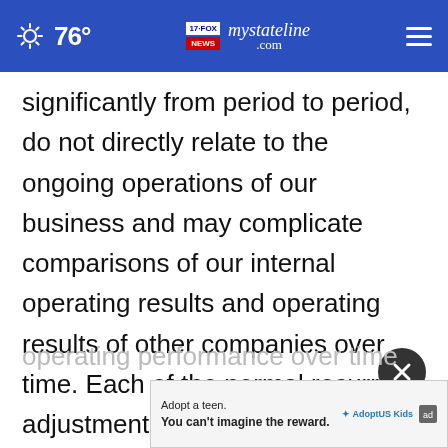76° mystateline.com NEWS
significantly from period to period, do not directly relate to the ongoing operations of our business and may complicate comparisons of our internal operating results and operating results of other companies over time. Each of the normal recurring adjustments and other adjustments described in this paragraph and in the Reconciliation of Non-GAAP metrics table elsewhere in this press release help mana
[Figure (other): Close button (dark circle with X) overlaid on the main content]
[Figure (other): Ad banner: 'Adopt a teen. You can't imagine the reward.' with AdoptUSKids logo and ad badge]
operating performance over time by removing